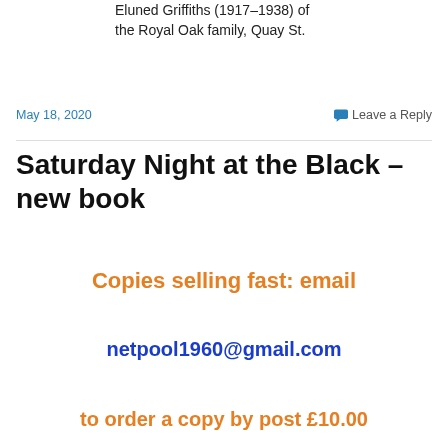Eluned Griffiths (1917–1938) of the Royal Oak family, Quay St.
May 18, 2020
Leave a Reply
Saturday Night at the Black – new book
Copies selling fast: email
netpool1960@gmail.com
to order a copy by post £10.00